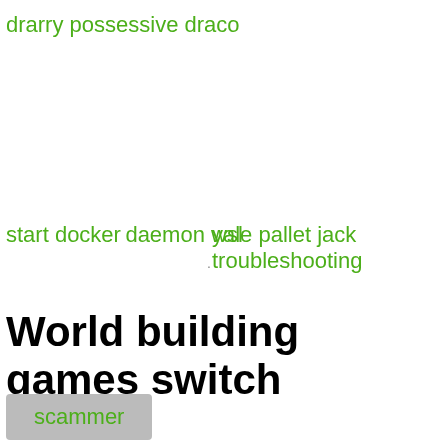drarry possessive draco
start docker daemon wsl
yale pallet jack troubleshooting
World building games switch
World Anvil: Free tool (you can pay to remove ads). Allows you to consolidate your world building contents online. Covers timelines, geography, religion, allows for uploading and
nigerian
scammer